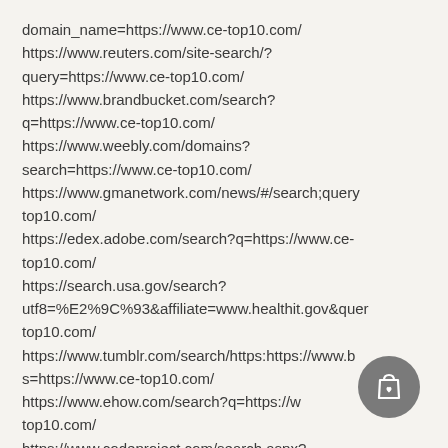domain_name=https://www.ce-top10.com/ https://www.reuters.com/site-search/?query=https://www.ce-top10.com/ https://www.brandbucket.com/search?q=https://www.ce-top10.com/ https://www.weebly.com/domains?search=https://www.ce-top10.com/ https://www.gmanetwork.com/news/#/search;query top10.com/ https://edex.adobe.com/search?q=https://www.ce-top10.com/ https://search.usa.gov/search?utf8=%E2%9C%93&affiliate=www.healthit.gov&quer top10.com/ https://www.tumblr.com/search/https:https://www.b s=https://www.ce-top10.com/ https://www.ehow.com/search?q=https://w top10.com/ https://www.codeproject.com/search.aspx? q=https://www.ce-top10.com/